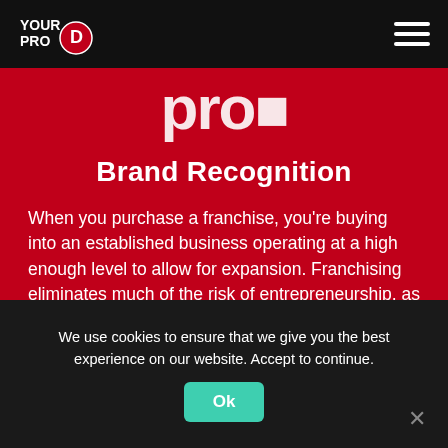Your Pro [logo] | Navigation menu
[Figure (logo): Partial brand logo text 'pro' in white bold lettering on red background]
Brand Recognition
When you purchase a franchise, you're buying into an established business operating at a high enough level to allow for expansion. Franchising eliminates much of the risk of entrepreneurship, as you know the model has already proven successful and competitive within the market.
We use cookies to ensure that we give you the best experience on our website. Accept to continue.